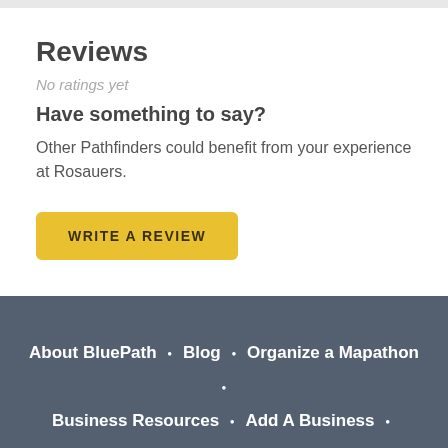Reviews
No ratings yet
Have something to say?
Other Pathfinders could benefit from your experience at Rosauers.
WRITE A REVIEW
About BluePath  •  Blog  •  Organize a Mapathon  •  Business Resources  •  Add A Business  •  Contact
© 2022 BluePath. All rights reserved.